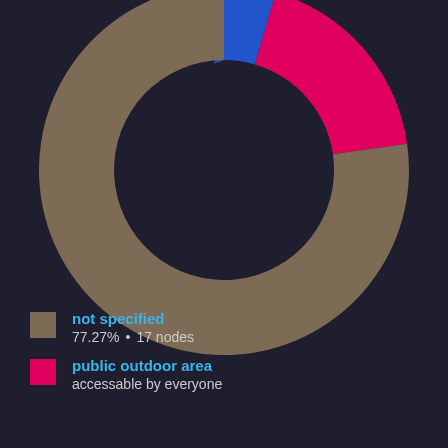[Figure (donut-chart): Node types donut chart]
not specified — 77.27% • 17 nodes
public outdoor area — accessable by everyone — 18.18%